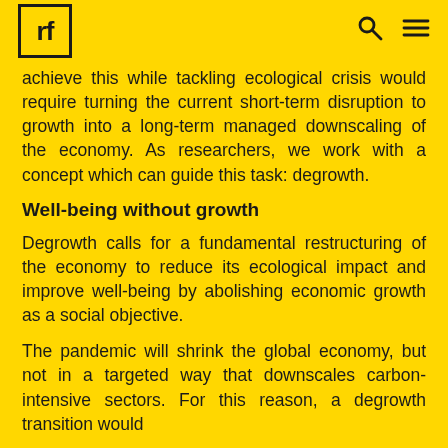rf [logo] [search icon] [menu icon]
achieve this while tackling ecological crisis would require turning the current short-term disruption to growth into a long-term managed downscaling of the economy. As researchers, we work with a concept which can guide this task: degrowth.
Well-being without growth
Degrowth calls for a fundamental restructuring of the economy to reduce its ecological impact and improve well-being by abolishing economic growth as a social objective.
The pandemic will shrink the global economy, but not in a targeted way that downscales carbon-intensive sectors. For this reason, a degrowth transition would